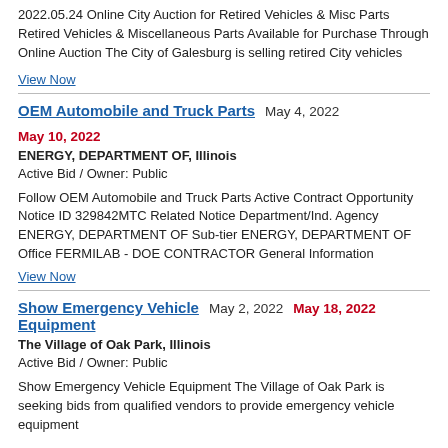2022.05.24 Online City Auction for Retired Vehicles & Misc Parts Retired Vehicles & Miscellaneous Parts Available for Purchase Through Online Auction The City of Galesburg is selling retired City vehicles
View Now
OEM Automobile and Truck Parts  May 4, 2022  May 10, 2022
ENERGY, DEPARTMENT OF, Illinois
Active Bid / Owner: Public
Follow OEM Automobile and Truck Parts Active Contract Opportunity Notice ID 329842MTC Related Notice Department/Ind. Agency ENERGY, DEPARTMENT OF Sub-tier ENERGY, DEPARTMENT OF Office FERMILAB - DOE CONTRACTOR General Information
View Now
Show Emergency Vehicle Equipment  May 2, 2022  May 18, 2022
The Village of Oak Park, Illinois
Active Bid / Owner: Public
Show Emergency Vehicle Equipment The Village of Oak Park is seeking bids from qualified vendors to provide emergency vehicle equipment